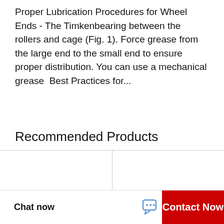Proper Lubrication Procedures for Wheel Ends - The Timkenbearing between the rollers and cage (Fig. 1). Force grease from the large end to the small end to ensure proper distribution. You can use a mechanical grease  Best Practices for...
Recommended Products
[Figure (photo): Two small ball bearings (shielded) on white background]
[Figure (photo): Large spherical roller bearing with brass cage, with WhatsApp Online overlay badge]
Chat now
Contact Now